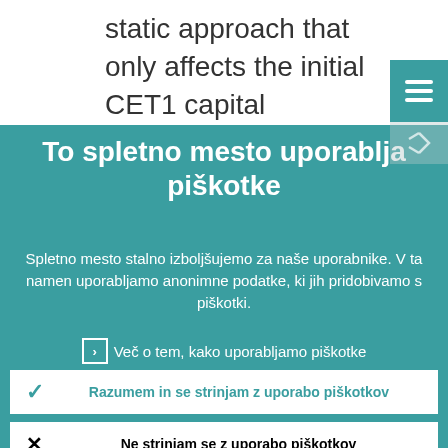static approach that only affects the initial CET1 capital reduction. We are therefore concerned to see that the Commission proposal and the ECON
[Figure (screenshot): Teal hamburger menu button overlay in top-right corner]
To spletno mesto uporablja piškotke
Spletno mesto stalno izboljšujemo za naše uporabnike. V ta namen uporabljamo anonimne podatke, ki jih pridobivamo s piškotki.
Več o tem, kako uporabljamo piškotke
Razumem in se strinjam z uporabo piškotkov
Ne strinjam se z uporabo piškotkov